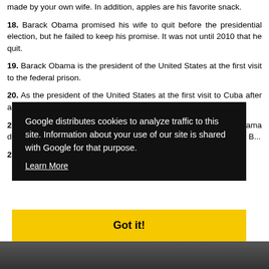17. Your favorite food is shrimp linguini, like pasta or spaghetti, made by your own wife. In addition, apples are his favorite snack.
18. Barack Obama promised his wife to quit before the presidential election, but he failed to keep his promise. It was not until 2010 that he quit.
19. Barack Obama is the president of the United States at the first visit to the federal prison.
20. As the president of the United States at the first visit to Cuba after a century of the embargo.
21. On the first day of enthronement, President Barack Obama demanded the closure of the detention center at Guantanamo Bay. B...
22. ... other p... of the U... eds 41 m...
Google distributes cookies to analyze traffic to this site. Information about your use of our site is shared with Google for that purpose. Learn More
Got it!
[Figure (photo): Photo strip at the bottom of the page showing partial images of people]